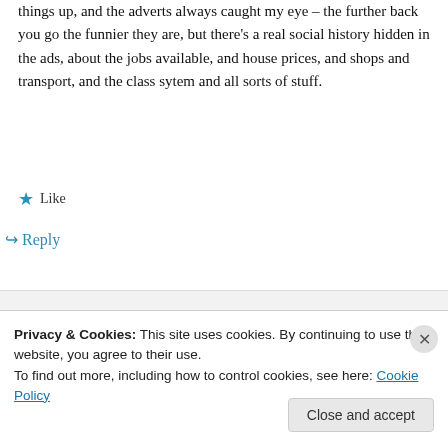things up, and the adverts always caught my eye – the further back you go the funnier they are, but there's a real social history hidden in the ads, about the jobs available, and house prices, and shops and transport, and the class sytem and all sorts of stuff.
★ Like
↪ Reply
Kate Gomez on May 19, 2013 at 10:57 pm
Privacy & Cookies: This site uses cookies. By continuing to use this website, you agree to their use.
To find out more, including how to control cookies, see here: Cookie Policy